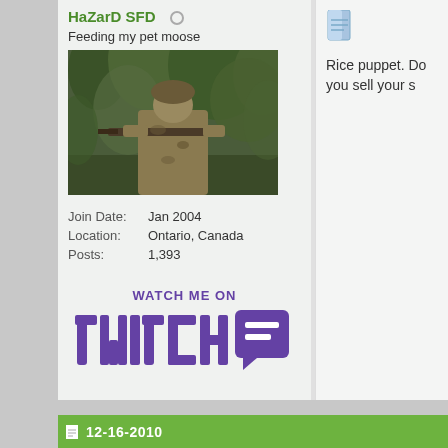HaZarD SFD
Feeding my pet moose
[Figure (photo): Person in camouflage gear pointing a rifle in a forest setting]
Join Date: Jan 2004
Location: Ontario, Canada
Posts: 1,393
[Figure (logo): WATCH ME ON twitch logo in purple]
Add HaZarD SFD on Xbox Live
My Product Reviews
[Figure (other): Document icon (blue)]
Rice puppet. Do you sell your s
Hidden Content
Hidden Content
Hidden Content
Hidden Content
12-16-2010